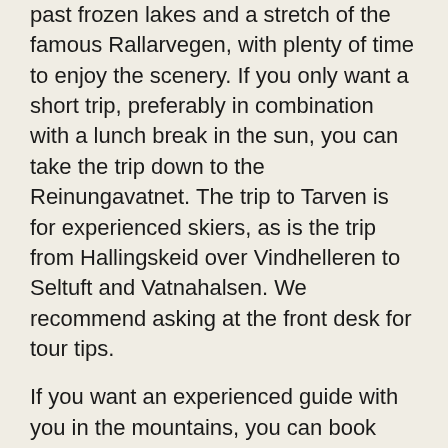past frozen lakes and a stretch of the famous Rallarvegen, with plenty of time to enjoy the scenery. If you only want a short trip, preferably in combination with a lunch break in the sun, you can take the trip down to the Reinungavatnet. The trip to Tarven is for experienced skiers, as is the trip from Hallingskeid over Vindhelleren to Seltuft and Vatnahalsen. We recommend asking at the front desk for tour tips.
If you want an experienced guide with you in the mountains, you can book one here. We are subject to the availability of guides at the given dates. We will get back to you with a confirmation.